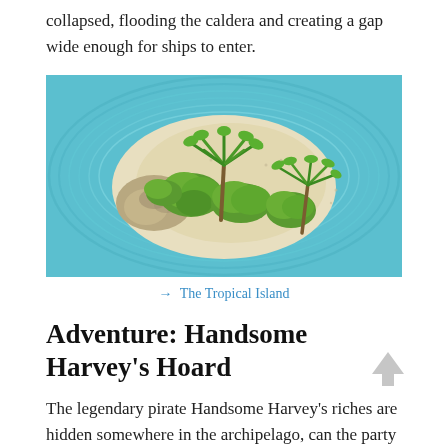collapsed, flooding the caldera and creating a gap wide enough for ships to enter.
[Figure (illustration): Top-down aerial illustration of a tropical island with sandy beaches, palm trees, green vegetation, rocks, and surrounding turquoise ocean water with wave contour lines.]
→ The Tropical Island
Adventure: Handsome Harvey's Hoard
The legendary pirate Handsome Harvey's riches are hidden somewhere in the archipelago, can the party